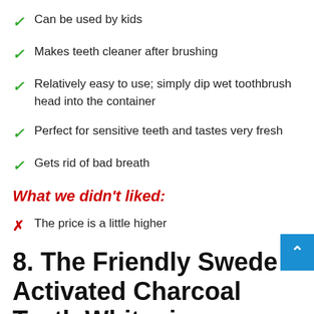Can be used by kids
Makes teeth cleaner after brushing
Relatively easy to use; simply dip wet toothbrush head into the container
Perfect for sensitive teeth and tastes very fresh
Gets rid of bad breath
What we didn't liked:
The price is a little higher
8. The Friendly Swede Activated Charcoal Teeth Whitening Powder